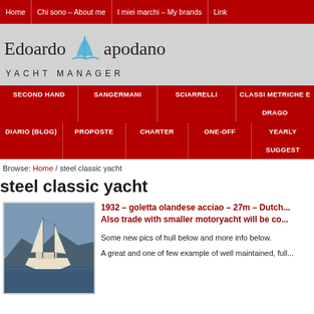Home | Chi sono – About me | I miei marchi – My brands | Link
[Figure (logo): Edoardo Napodano Yacht Manager logo with stylized sail graphic in blue]
SECOND HAND | SANGERMANI | SCIARRELLI | CLASSI METRICHE E DRAGO... | DIARIO (BLOG) | PROPOSTE | CHARTER | ONE-OFF | YEARLY SUGGEST...
Browse: Home / steel classic yacht
steel classic yacht
[Figure (photo): Photo of a classic sailing yacht (goletta) moored at a dock, with mountains in the background]
1932 – goletta olandese acciao – 27m – Dutch... Also trade with smaller motoryacht will be co...
Some new pics of hull below and more info below.
A great and one of few example of well maintained, full...